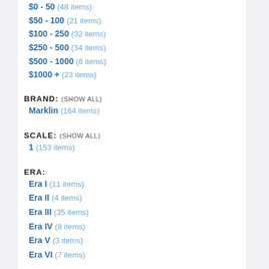$0 - 50  (48 items)
$50 - 100  (21 items)
$100 - 250  (32 items)
$250 - 500  (34 items)
$500 - 1000  (6 items)
$1000 +  (23 items)
BRAND: (SHOW ALL)
Marklin (164 items)
SCALE: (SHOW ALL)
1 (153 items)
ERA:
Era I  (11 items)
Era II  (4 items)
Era III  (35 items)
Era IV  (8 items)
Era V  (3 items)
Era VI  (7 items)
COUNTRY:
Germany (49 items)
Switzerland (2 items)
France (1 item)